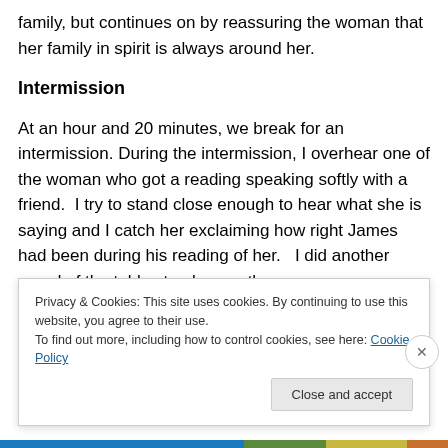family, but continues on by reassuring the woman that her family in spirit is always around her.
Intermission
At an hour and 20 minutes, we break for an intermission. During the intermission, I overhear one of the woman who got a reading speaking softly with a friend.  I try to stand close enough to hear what she is saying and I catch her exclaiming how right James had been during his reading of her.   I did another round of the tables to observe the
Privacy & Cookies: This site uses cookies. By continuing to use this website, you agree to their use.
To find out more, including how to control cookies, see here: Cookie Policy